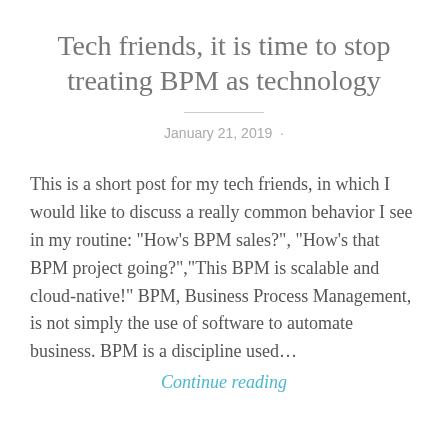Tech friends, it is time to stop treating BPM as technology
January 21, 2019 ·
This is a short post for my tech friends, in which I would like to discuss a really common behavior I see in my routine: "How's BPM sales?", "How's that BPM project going?","This BPM is scalable and cloud-native!" BPM, Business Process Management, is not simply the use of software to automate business. BPM is a discipline used...
Continue reading